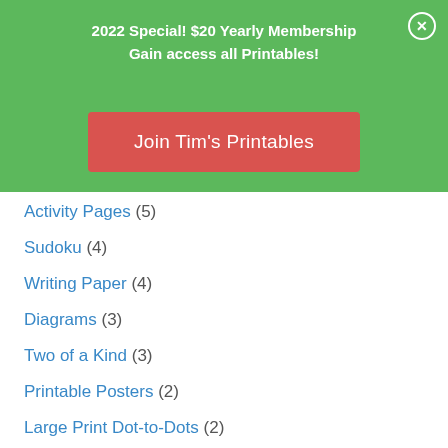2022 Special! $20 Yearly Membership
Gain access all Printables!
[Figure (other): Red button labeled 'Join Tim's Printables']
Activity Pages (5)
Sudoku (4)
Writing Paper (4)
Diagrams (3)
Two of a Kind (3)
Printable Posters (2)
Large Print Dot-to-Dots (2)
Bookmarks (1)